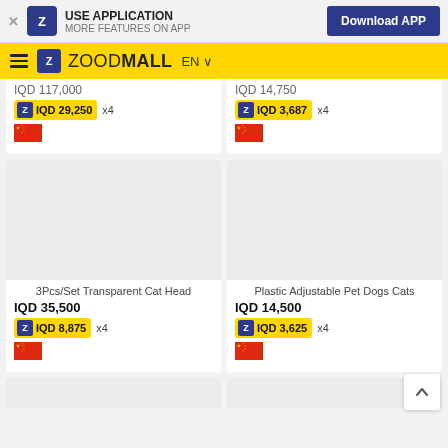USE APPLICATION MORE FEATURES ON APP | Download APP
ZOODMALL EN
IQD 117,000
IQD 29,250 x4
IQD 14,750
IQD 3,687 x4
3Pcs/Set Transparent Cat Head
IQD 35,500
IQD 8,875 x4
Plastic Adjustable Pet Dogs Cats
IQD 14,500
IQD 3,625 x4